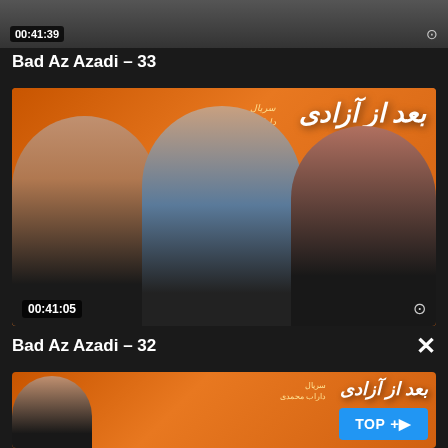[Figure (screenshot): Top video thumbnail strip showing duration 00:41:39 and clock icon]
Bad Az Azadi – 33
[Figure (photo): Main video thumbnail for Bad Az Azadi episode 33, orange background with three people and Persian/Arabic show title text, duration 00:41:05 and clock icon]
Bad Az Azadi – 32
[Figure (photo): Bottom video thumbnail for Bad Az Azadi episode 32, orange background with person and Persian/Arabic show title, with blue TOP button overlay]